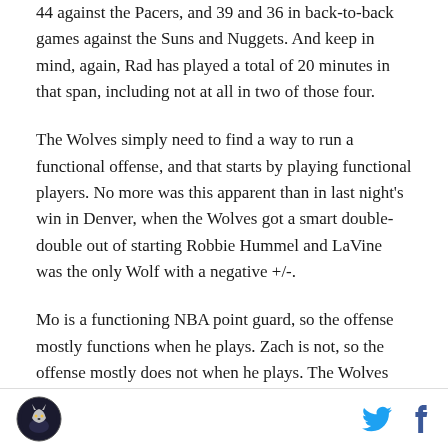44 against the Pacers, and 39 and 36 in back-to-back games against the Suns and Nuggets. And keep in mind, again, Rad has played a total of 20 minutes in that span, including not at all in two of those four.
The Wolves simply need to find a way to run a functional offense, and that starts by playing functional players. No more was this apparent than in last night's win in Denver, when the Wolves got a smart double-double out of starting Robbie Hummel and LaVine was the only Wolf with a negative +/-.
Mo is a functioning NBA point guard, so the offense mostly functions when he plays. Zach is not, so the offense mostly does not when he plays. The Wolves